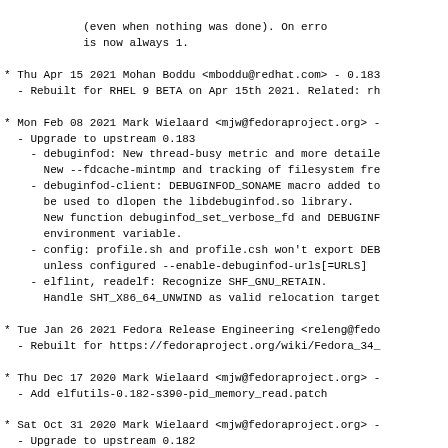(even when nothing was done). On error is now always 1.
* Thu Apr 15 2021 Mohan Boddu <mboddu@redhat.com> - 0.183
- Rebuilt for RHEL 9 BETA on Apr 15th 2021. Related: rh
* Mon Feb 08 2021 Mark Wielaard <mjw@fedoraproject.org>
- Upgrade to upstream 0.183
  - debuginfod: New thread-busy metric and more detaile
    New --fdcache-mintmp and tracking of filesystem fre
  - debuginfod-client: DEBUGINFOD_SONAME macro added to
    be used to dlopen the libdebuginfod.so library.
    New function debuginfod_set_verbose_fd and DEBUGINF
    environment variable.
  - config: profile.sh and profile.csh won't export DEB
    unless configured --enable-debuginfod-urls[=URLS]
  - elflint, readelf: Recognize SHF_GNU_RETAIN.
    Handle SHT_X86_64_UNWIND as valid relocation target
* Tue Jan 26 2021 Fedora Release Engineering <releng@fedo
- Rebuilt for https://fedoraproject.org/wiki/Fedora_34_
* Thu Dec 17 2020 Mark Wielaard <mjw@fedoraproject.org>
- Add elfutils-0.182-s390-pid_memory_read.patch
* Sat Oct 31 2020 Mark Wielaard <mjw@fedoraproject.org>
- Upgrade to upstream 0.182
  - backends: Support for tilegx has been removed.
  - config: New /etc/profile.d files to provide default
  - debuginfod: More efficient package traversal, toler
    errors during scanning, grooming progress is more v
    interruptible, more prometheus metrics.
  - debuginfod-client: Now supports compressed (kernel)
  - libdwfl: Add ZSTD compression support.
* Mon Oct 19 2020 Mark Wielaard <mjw@fedoraproject.org>